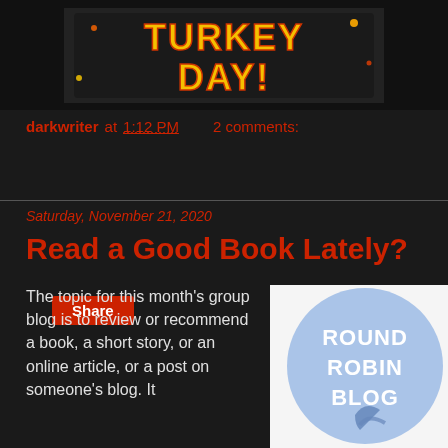[Figure (illustration): Turkey Day festive banner image with colorful glittery text reading 'TURKEY DAY!' on a dark background]
darkwriter at 1:12 PM    2 comments:
Share
Saturday, November 21, 2020
Read a Good Book Lately?
The topic for this month's group blog is to review or recommend a book, a short story, or an online article, or a post on someone's blog. It...
[Figure (logo): Round Robin Blog logo — white text on a light blue circle with a bird silhouette]